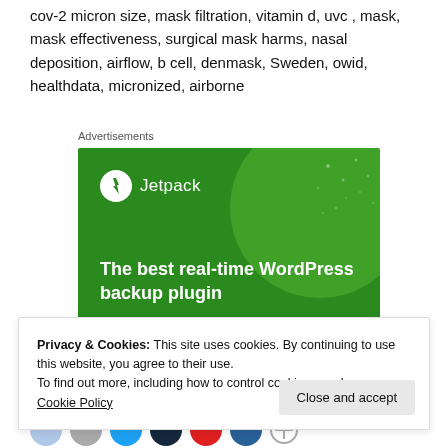cov-2 micron size, mask filtration, vitamin d, uvc, mask, mask effectiveness, surgical mask harms, nasal deposition, airflow, b cell, denmask, Sweden, owid, healthdata, micronized, airborne
Advertisements
[Figure (other): Jetpack WordPress plugin advertisement with green background, circular logo with lightning bolt, headline 'The best real-time WordPress backup plugin', and 'Back up your site' button]
Privacy & Cookies: This site uses cookies. By continuing to use this website, you agree to their use.
To find out more, including how to control cookies, see here: Cookie Policy
Close and accept